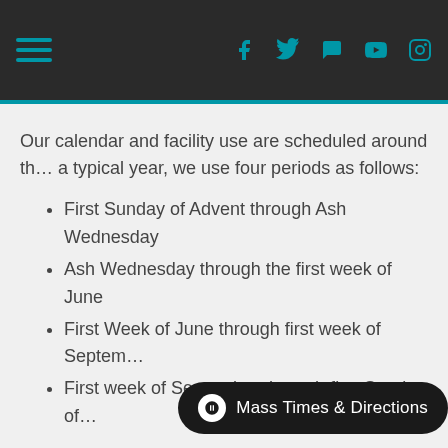Navigation header with hamburger menu and social icons (Facebook, Twitter, share, YouTube, Instagram)
Our calendar and facility use are scheduled around th… a typical year, we use four periods as follows:
First Sunday of Advent through Ash Wednesday
Ash Wednesday through the first week of June
First Week of June through first week of Septem…
First week of September through first Sunday of…
In priority order, we assign use based on the following…
Liturgical Services, including weddings, fune… hospitality.
Religious education classes.
Rehearsals, and … cia… events. (Music, bulletin folding, etc.)